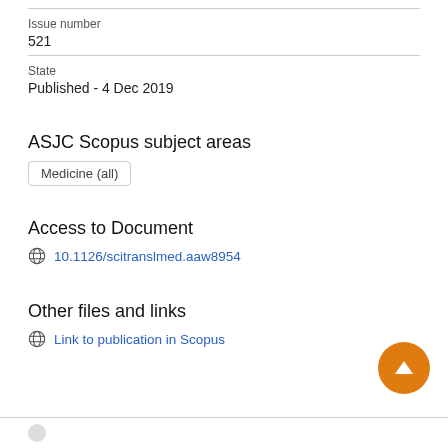Issue number
521
State
Published - 4 Dec 2019
ASJC Scopus subject areas
Medicine (all)
Access to Document
10.1126/scitranslmed.aaw8954
Other files and links
Link to publication in Scopus